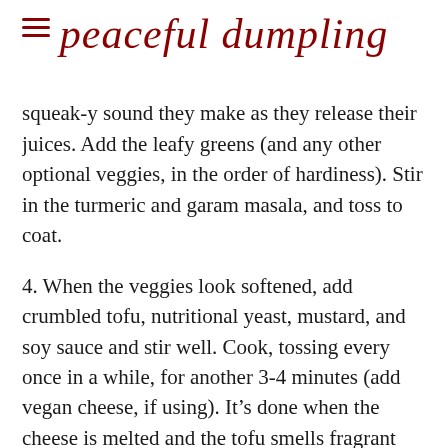peaceful dumpling
3. Add sliced mushrooms and wait for that squeak-y sound they make as they release their juices. Add the leafy greens (and any other optional veggies, in the order of hardiness). Stir in the turmeric and garam masala, and toss to coat.
4. When the veggies look softened, add crumbled tofu, nutritional yeast, mustard, and soy sauce and stir well. Cook, tossing every once in a while, for another 3-4 minutes (add vegan cheese, if using). It’s done when the cheese is melted and the tofu smells fragrant and delicious. Salt and pepper to taste.